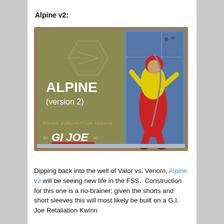Alpine v2:
[Figure (photo): Promotional slide for Alpine (version 2) from the G.I. Joe Figure Subscription Service. Left side shows the name 'ALPINE (version 2)' on an olive/gold background with a hexagonal GI Joe logo emblem. Bottom left shows 'FIGURE SUBSCRIPTION SERVICE' and the G.I. Joe logo. Right side shows comic-style artwork of the Alpine character in yellow shirt and red pants climbing/rappelling.]
Dipping back into the well of Valor vs. Venom, Alpine v2 will be seeing new life in the FSS.  Construction for this one is a no-brainer; given the shorts and short sleeves this will most likely be built on a G.I. Joe Retaliation Kwinn